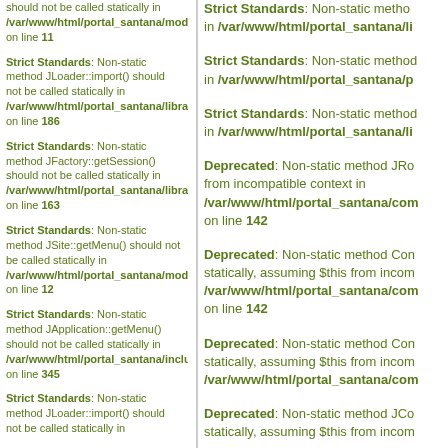should not be called statically in /var/www/html/portal_santana/modules/mod_mainmenu/tmpl/default.php on line 11
Strict Standards: Non-static method JLoader::import() should not be called statically in /var/www/html/portal_santana/libraries/loader.php on line 186
Strict Standards: Non-static method JFactory::getSession() should not be called statically in /var/www/html/portal_santana/libraries/joomla/factory.php on line 163
Strict Standards: Non-static method JSite::getMenu() should not be called statically in /var/www/html/portal_santana/modules/mod_mainmenu/tmpl/default.php on line 12
Strict Standards: Non-static method JApplication::getMenu() should not be called statically in /var/www/html/portal_santana/includes/application.php on line 345
Strict Standards: Non-static method JLoader::import() should not be called statically in
Strict Standards: Non-static method should not be called statically in /var/www/html/portal_santana/li
Strict Standards: Non-static method in /var/www/html/portal_santana/p
Strict Standards: Non-static method in /var/www/html/portal_santana/li
Deprecated: Non-static method JRo from incompatible context in /var/www/html/portal_santana/com on line 142
Deprecated: Non-static method Con statically, assuming $this from incom /var/www/html/portal_santana/com on line 142
Deprecated: Non-static method Con statically, assuming $this from incom /var/www/html/portal_santana/com
Deprecated: Non-static method JCo statically, assuming $this from incom